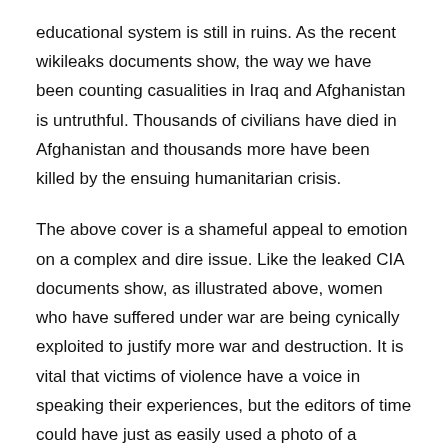educational system is still in ruins. As the recent wikileaks documents show, the way we have been counting casualities in Iraq and Afghanistan is untruthful. Thousands of civilians have died in Afghanistan and thousands more have been killed by the ensuing humanitarian crisis.
The above cover is a shameful appeal to emotion on a complex and dire issue. Like the leaked CIA documents show, as illustrated above, women who have suffered under war are being cynically exploited to justify more war and destruction. It is vital that victims of violence have a voice in speaking their experiences, but the editors of time could have just as easily used a photo of a woman maimed in a NATO attack and told a different story. Next year we will see a decade of official military presence in Afghanistan, and the situation seems to be degrading rather than improving. While Afghanistan warps into an opium plantation state, the Afghan women enjoy just